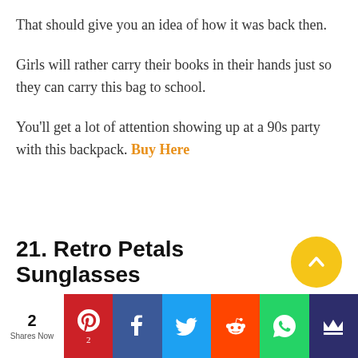That should give you an idea of how it was back then.
Girls will rather carry their books in their hands just so they can carry this bag to school.
You'll get a lot of attention showing up at a 90s party with this backpack. Buy Here
21. Retro Petals Sunglasses
2 Shares Now | Pinterest 2 | Facebook | Twitter | Reddit | WhatsApp | Crown